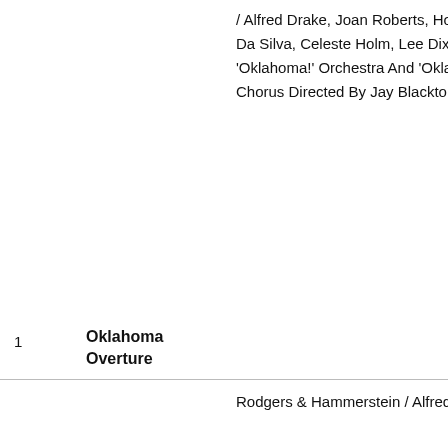| # | Title | Credits |
| --- | --- | --- |
| 1 | Oklahoma Overture | Rodgers & Hammerstein / Alfred Drake, Joan Roberts, Howard Da Silva, Celeste Holm, Lee Dixon With 'Oklahoma!' Orchestra And 'Oklahoma!' Chorus Directed By Jay Blackton |
|  |  | Rodgers & Hammerstein / Alfred |